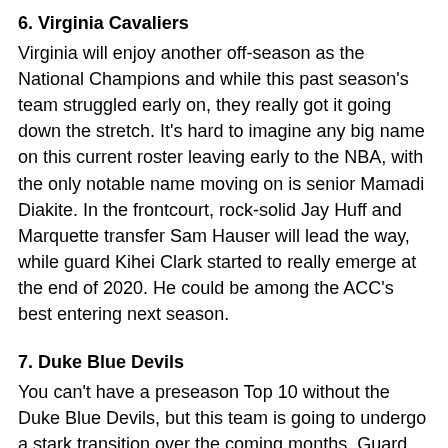6. Virginia Cavaliers
Virginia will enjoy another off-season as the National Champions and while this past season's team struggled early on, they really got it going down the stretch. It's hard to imagine any big name on this current roster leaving early to the NBA, with the only notable name moving on is senior Mamadi Diakite. In the frontcourt, rock-solid Jay Huff and Marquette transfer Sam Hauser will lead the way, while guard Kihei Clark started to really emerge at the end of 2020. He could be among the ACC's best entering next season.
7. Duke Blue Devils
You can't have a preseason Top 10 without the Duke Blue Devils, but this team is going to undergo a stark transition over the coming months. Guard Tre Jones has already announced he is going pro, and fellow stars Vernon Carey and Cassius Stanley are sure to join him. Coach K will also lose some important bench pieces as Jack White and Javin DeLaurier are graduating, and Alex O'Connell appears set to transfer. However, former five-star recruit Matthew Hurt is